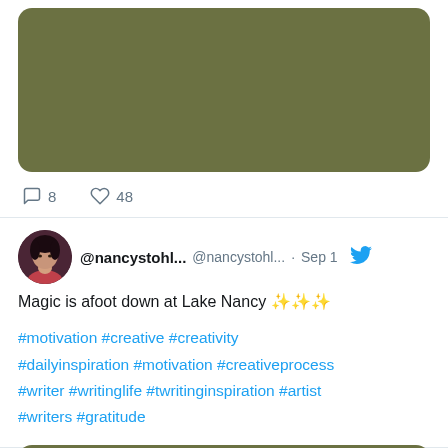[Figure (photo): Olive/dark green rectangular image placeholder (top tweet image), rounded corners]
💬 8   ♡ 48
[Figure (photo): Profile avatar of a woman with dark hair wearing a red top]
@nancystohl...  @nancystohl... · Sep 1  [Twitter bird icon]
Magic is afoot down at Lake Nancy ✨✨✨
#motivation #creative #creativity #dailyinspiration #motivation #creativeprocess #writer #writinglife #twritinginspiration #artist #writers #gratitude
[Figure (photo): Olive/dark green rectangular image placeholder (bottom tweet image), rounded corners, partially visible]